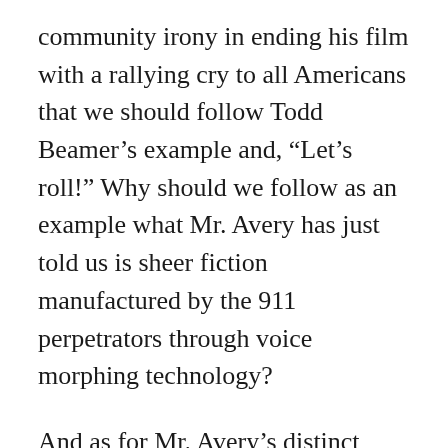community irony in ending his film with a rallying cry to all Americans that we should follow Todd Beamer’s example and, “Let’s roll!” Why should we follow as an example what Mr. Avery has just told us is sheer fiction manufactured by the 911 perpetrators through voice morphing technology?
And as for Mr. Avery’s distinct incapacity to imagine the obvious, let alone see it in front of his face, here are several good reasons why Todd Beamer would spend the last few minutes of his life talking to a complete stranger rather than a family member: